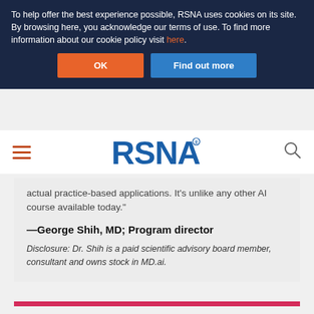To help offer the best experience possible, RSNA uses cookies on its site. By browsing here, you acknowledge our terms of use. To find more information about our cookie policy visit here.
OK
Find out more
[Figure (logo): RSNA logo - blue text with registered trademark symbol]
actual practice-based applications. It’s unlike any other AI course available today.”
—George Shih, MD; Program director
Disclosure: Dr. Shih is a paid scientific advisory board member, consultant and owns stock in MD.ai.